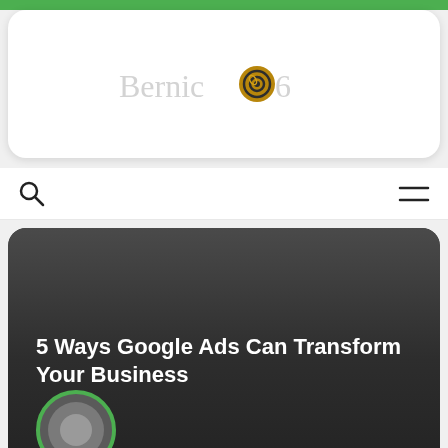[Figure (logo): Bernie.06 website logo with golden circular icon in the center of the text]
[Figure (screenshot): Navigation bar with search icon on left and hamburger menu icon on right]
5 Ways Google Ads Can Transform Your Business
[Figure (illustration): Partial circular avatar/profile image with green and grey colors at bottom of card]